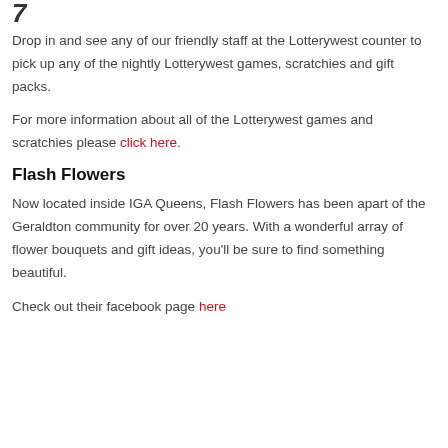Drop in and see any of our friendly staff at the Lotterywest counter to pick up any of the nightly Lotterywest games, scratchies and gift packs.
For more information about all of the Lotterywest games and scratchies please click here.
Flash Flowers
Now located inside IGA Queens, Flash Flowers has been apart of the Geraldton community for over 20 years. With a wonderful array of flower bouquets and gift ideas, you'll be sure to find something beautiful.
Check out their facebook page here